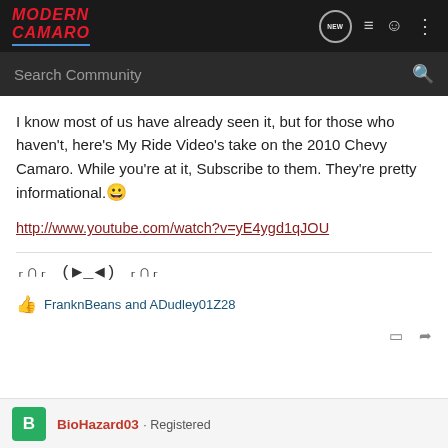Modern Camaro — navigation bar with search
I know most of us have already seen it, but for those who haven't, here's My Ride Video's take on the 2010 Chevy Camaro. While you're at it, Subscribe to them. They're pretty informational. 😀

http://www.youtube.com/watch?v=yE4ygd1qJOU
ᵣ∩ᵣ (▶_◀) ᵣ∩ᵣ
FranknBeans and ADudley01Z28
BioHazard03 · Registered